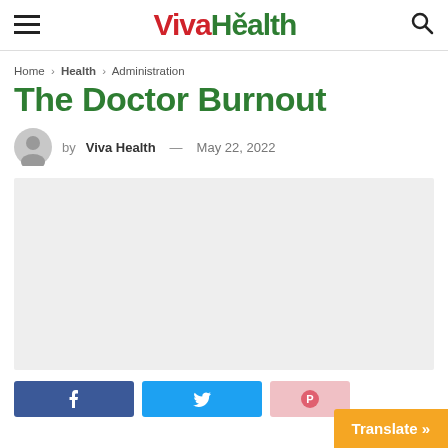VivaHealth — hamburger menu and search icon
Home › Health › Administration
The Doctor Burnout
by Viva Health — May 22, 2022
[Figure (photo): Featured article image placeholder — light grey rectangle]
[Figure (other): Social share buttons: Facebook, Twitter, Pinterest; Translate button bottom right]